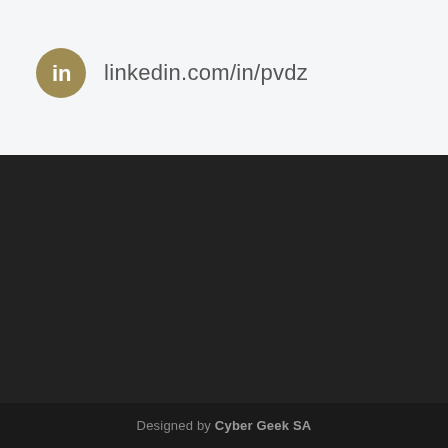linkedin.com/in/pvdz
Designed by Cyber Geek SA